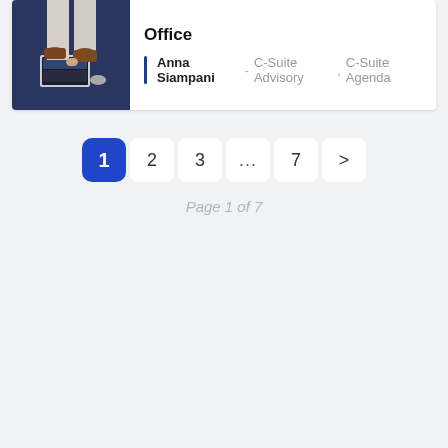[Figure (photo): Person sitting with laptop, wearing brown shoes and light pants, viewed from above on a blue surface]
Office
Anna Siampani - C-Suite Advisory , C-Suite Agenda
1  2  3  ...  7  >
Page 1 of 7